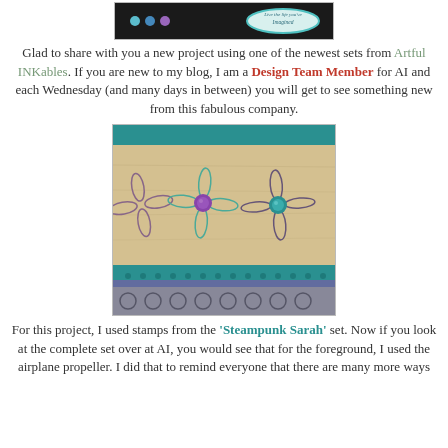[Figure (photo): Top portion of a black bracelet/wristband with decorative dots (teal, blue, purple) and a teal oval tag reading 'Live the life you've Imagined']
Glad to share with you a new project using one of the newest sets from Artful INKables. If you are new to my blog, I am a Design Team Member for AI and each Wednesday (and many days in between) you will get to see something new from this fabulous company.
[Figure (photo): Craft project showing wooden board with stamped airplane propeller designs in purple and teal ink, with purple and teal round brads, on a teal cutting mat with patterned paper border]
For this project, I used stamps from the 'Steampunk Sarah' set. Now if you look at the complete set over at AI, you would see that for the foreground, I used the airplane propeller. I did that to remind everyone that there are many more ways